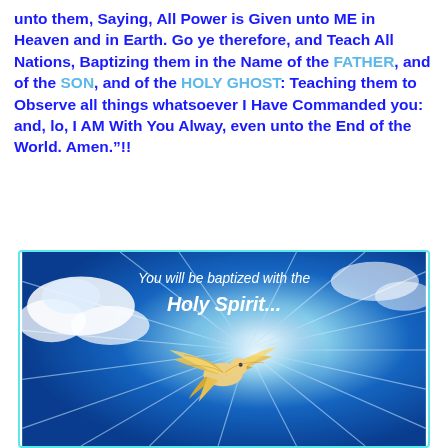unto them, Saying, All Power is Given unto ME in Heaven and in Earth. Go ye therefore, and Teach All Nations, Baptizing them in the Name of the FATHER, and of the SON, and of the HOLY GHOST: Teaching them to Observe all things whatsoever I Have Commanded you: and, lo, I AM With You Alway, even unto the End of the World. Amen."!!
[Figure (illustration): Religious illustration showing a white dove with golden wings flying upward against a bright blue sky with radiating light beams and clouds. White italic text reads 'You will be baptized with the Holy Spirit...' The image has a cyan border.]